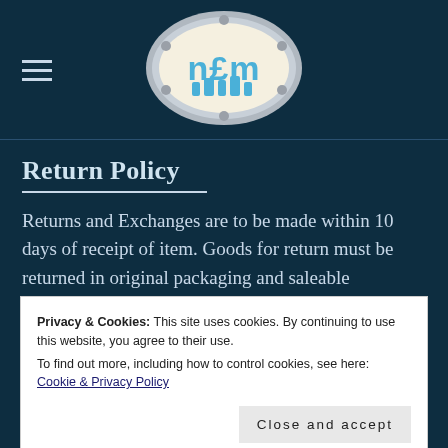[Figure (logo): NFM logo: oval porthole-style logo with blue family figures on cream background, metallic border, on dark teal background]
Return Policy
Returns and Exchanges are to be made within 10 days of receipt of item. Goods for return must be returned in original packaging and saleable
Privacy & Cookies: This site uses cookies. By continuing to use this website, you agree to their use.
To find out more, including how to control cookies, see here: Cookie & Privacy Policy
Close and accept